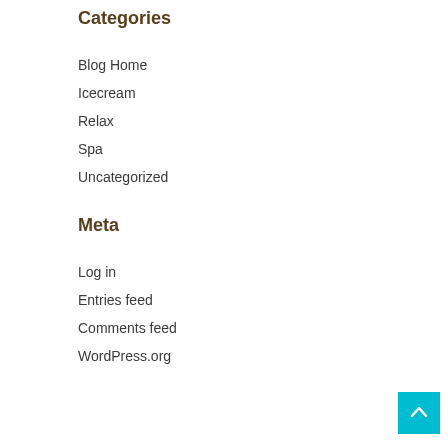Categories
Blog Home
Icecream
Relax
Spa
Uncategorized
Meta
Log in
Entries feed
Comments feed
WordPress.org